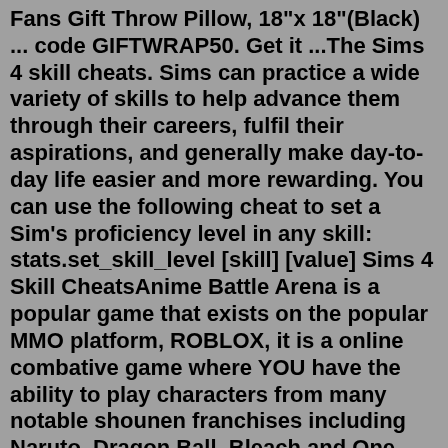Fans Gift Throw Pillow, 18"x 18"(Black) ... code GIFTWRAP50. Get it ...The Sims 4 skill cheats. Sims can practice a wide variety of skills to help advance them through their careers, fulfil their aspirations, and generally make day-to-day life easier and more rewarding. You can use the following cheat to set a Sim's proficiency level in any skill: stats.set_skill_level [skill] [value] Sims 4 Skill CheatsAnime Battle Arena is a popular game that exists on the popular MMO platform, ROBLOX, it is a online combative game where YOU have the ability to play characters from many notable shounen franchises including Naruto, Dragon Ball, Bleach and One Piece. Each character requires game-sense and each character moveset differs from each other.Jun 13, 2022 · IceWastes - free Merchant boosts. 700klikes. KingdomFour - New code for Anime Fighters update. DivineColosseum - A brand new code with the new update. Sulley1M. 1MilFaves. otrademark. HalfBillion - Free in-game items. Sub2Numerous. Jun 13, 2022 · IceWastes - free